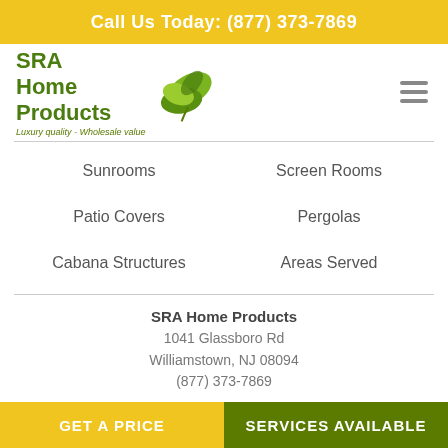Call Us Today: (877) 373-7869
[Figure (logo): SRA Home Products logo with green leaf graphic and tagline 'Luxury quality - Wholesale value']
Sunrooms
Screen Rooms
Patio Covers
Pergolas
Cabana Structures
Areas Served
SRA Home Products
1041 Glassboro Rd
Williamstown, NJ 08094
(877) 373-7869
© 2022 SRA Home Products | All rights reserved.
GET A PRICE
SERVICES AVAILABLE